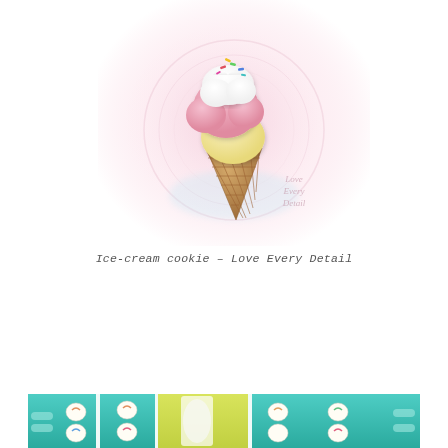[Figure (photo): An ice-cream shaped cookie or brooch showing a waffle cone with layered yellow and pink scoops topped with white frosting and rainbow sprinkles, placed against a soft pink blurred background. A watermark reads 'Love Every Detail'.]
Ice-cream cookie - Love Every Detail
[Figure (photo): A dessert table with teal/mint colored trays, small white decorated cookies or candies, and colorful yellow/green decor elements visible at the bottom of the page.]